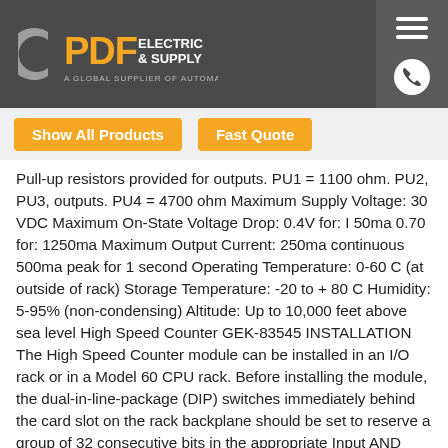[Figure (logo): PDF Electric & Supply logo - a global supplier of automation]
Show All Products  Fast Quote
Pull-up resistors provided for outputs. PU1 = 1100 ohm. PU2, PU3, outputs. PU4 = 4700 ohm Maximum Supply Voltage: 30 VDC Maximum On-State Voltage Drop: 0.4V for: I 50ma 0.70 for: 1250ma Maximum Output Current: 250ma continuous 500ma peak for 1 second Operating Temperature: 0-60 C (at outside of rack) Storage Temperature: -20 to + 80 C Humidity: 5-95% (non-condensing) Altitude: Up to 10,000 feet above sea level High Speed Counter GEK-83545 INSTALLATION The High Speed Counter module can be installed in an I/O rack or in a Model 60 CPU rack. Before installing the module, the dual-in-line-package (DIP) switches immediately behind the card slot on the rack backplane should be set to reserve a group of 32 consecutive bits in the appropriate Input AND Output Status Tables of the CPU. For specific DIP switch settings, refer to Figure 1. You should also set the circuit board jumpers and dip switch to configure the module for your particular application. Refer to Figure 2 for description of all user